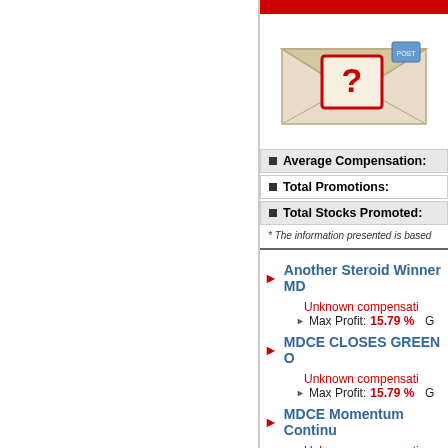[Figure (illustration): Envelope with a red question mark stamp and blue postal stamp]
Average Compensation:
Total Promotions:
Total Stocks Promoted:
* The information presented is based
Another Steroid Winner MD
Unknown compensati
Max Profit: 15.79 % G
MDCE CLOSES GREEN O
Unknown compensati
Max Profit: 15.79 % G
MDCE Momentum Continu
Unknown compensati